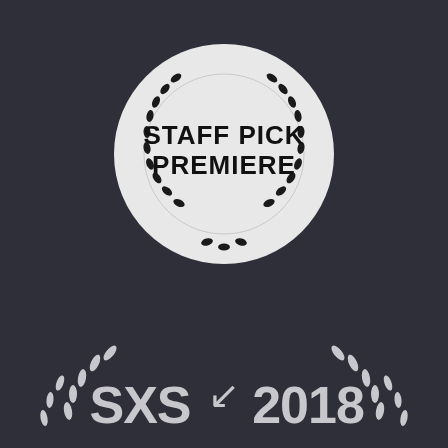[Figure (logo): Staff Pick Premiere badge: a white circle with laurel wreath decoration and bold text 'STAFF PICK PREMIERE' in the center, on a dark charcoal background]
[Figure (logo): SXSW 2018 laurel wreath logo in light gray, partially visible at the bottom of the image on a dark charcoal background, showing 'SXS' on left side and '2018' on right side with laurel branch decorations]